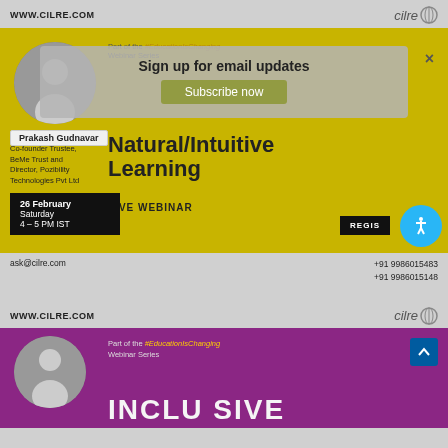WWW.CILRE.COM
[Figure (screenshot): Yellow background webinar promotional card with speaker Prakash Gudnavar, email signup popup overlay, title Natural/Intuitive Learning, date 26 February Saturday 4-5 PM IST, Live Webinar label, Register button, and accessibility icon]
Part of the #EducationIsChanging Webinar Series
Natural/Intuitive Learning
Prakash Gudnavar
Co-founder Trustee, BeMe Trust and Director, Pozibility Technologies Pvt Ltd
LIVE WEBINAR
26 February Saturday 4 – 5 PM IST
REGIS
Sign up for email updates
Subscribe now
ask@cilre.com
+91 9986015483
+91 9986015148
WWW.CILRE.COM
[Figure (screenshot): Purple background webinar promotional card with female speaker photo, Part of the #EducationIsChanging Webinar Series text, and partial INCLUSIVE text at the bottom]